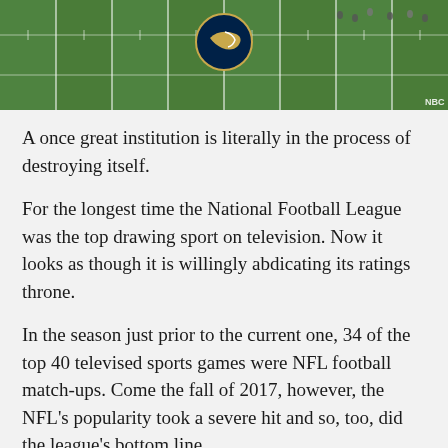[Figure (photo): Aerial view of an NFL football field with a Los Angeles Rams logo visible at midfield, players visible on the field]
A once great institution is literally in the process of destroying itself.
For the longest time the National Football League was the top drawing sport on television. Now it looks as though it is willingly abdicating its ratings throne.
In the season just prior to the current one, 34 of the top 40 televised sports games were NFL football match-ups. Come the fall of 2017, however, the NFL's popularity took a severe hit and so, too, did the league's bottom line.